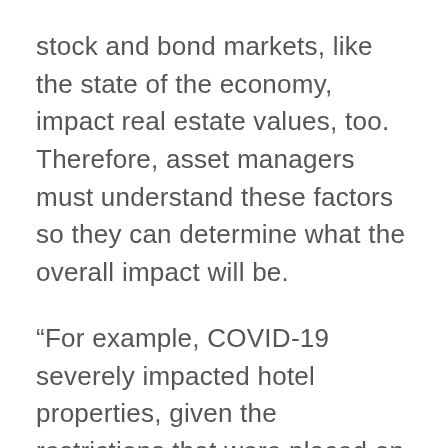stock and bond markets, like the state of the economy, impact real estate values, too. Therefore, asset managers must understand these factors so they can determine what the overall impact will be.
“For example, COVID-19 severely impacted hotel properties, given the restrictions that were placed on travel. On the other hand, industrial properties, such as warehouses and fulfillment facilities, did quite well due to the boom in e-commerce brought on by the